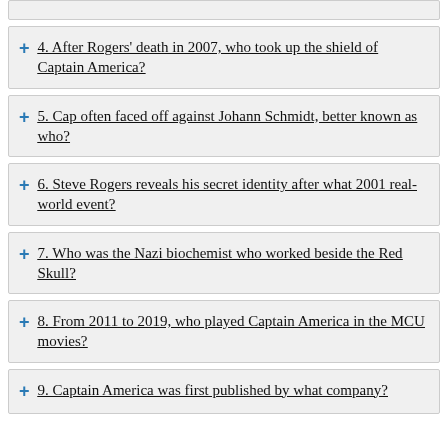4. After Rogers' death in 2007, who took up the shield of Captain America?
5. Cap often faced off against Johann Schmidt, better known as who?
6. Steve Rogers reveals his secret identity after what 2001 real-world event?
7. Who was the Nazi biochemist who worked beside the Red Skull?
8. From 2011 to 2019, who played Captain America in the MCU movies?
9. Captain America was first published by what company?